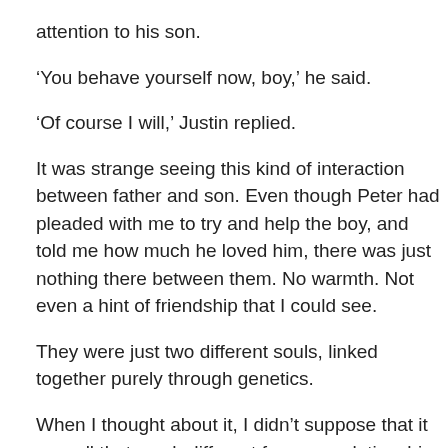attention to his son.
‘You behave yourself now, boy,’ he said.
‘Of course I will,’ Justin replied.
It was strange seeing this kind of interaction between father and son. Even though Peter had pleaded with me to try and help the boy, and told me how much he loved him, there was just nothing there between them. No warmth. Not even a hint of friendship that I could see.
They were just two different souls, linked together purely through genetics.
When I thought about it, I didn’t suppose that it was all that much different from my relationship with my own father – although we could at least communicate, when we tried.